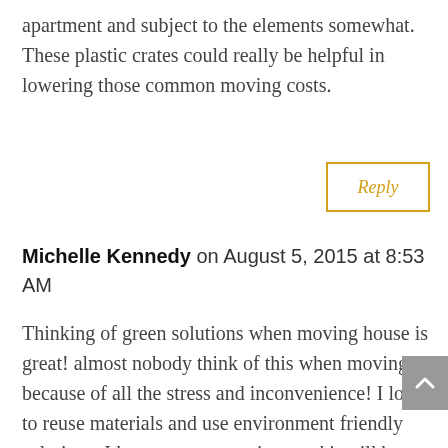apartment and subject to the elements somewhat. These plastic crates could really be helpful in lowering those common moving costs.
Reply
Michelle Kennedy on August 5, 2015 at 8:53 AM
Thinking of green solutions when moving house is great! almost nobody think of this when moving because of all the stress and inconvenience! I love to reuse materials and use environment friendly solutions. I love your suggestions and it will be great to find